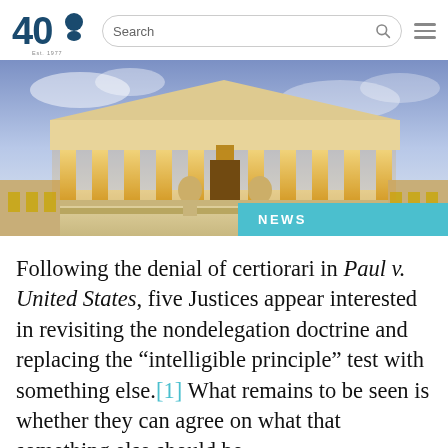[Figure (logo): 40 with Founding Father silhouette logo, Est. 1977]
[Figure (photo): Photograph of the U.S. Supreme Court building at dusk with illuminated columns and purple sky, with a teal NEWS badge overlay in the bottom right]
Following the denial of certiorari in Paul v. United States, five Justices appear interested in revisiting the nondelegation doctrine and replacing the “intelligible principle” test with something else.[1] What remains to be seen is whether they can agree on what that something else should be.